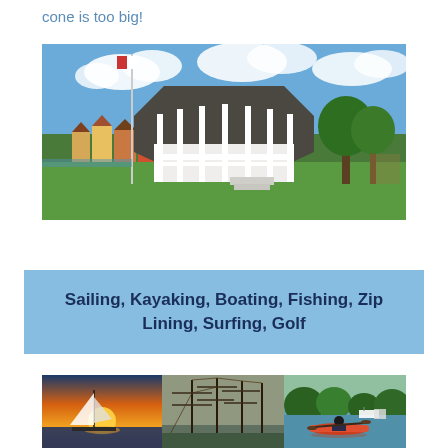cone is too big!
[Figure (photo): A white gazebo/bandstand in a park with green lawn, flagpole, trees, and colorful houses in the background under a blue sky with clouds]
Sailing, Kayaking, Boating, Fishing, Zip Lining, Surfing, Golf
[Figure (photo): Three side-by-side photos: a sailboat at sunset, tall ship rigging/masts, and a person kayaking on calm water with boats in the background]